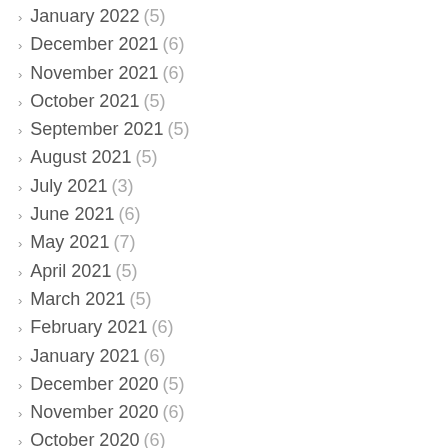January 2022 (5)
December 2021 (6)
November 2021 (6)
October 2021 (5)
September 2021 (5)
August 2021 (5)
July 2021 (3)
June 2021 (6)
May 2021 (7)
April 2021 (5)
March 2021 (5)
February 2021 (6)
January 2021 (6)
December 2020 (5)
November 2020 (6)
October 2020 (6)
September 2020 (5)
August 2020 (6)
July 2020 (6)
June 2020 (6)
May 2020 (10)